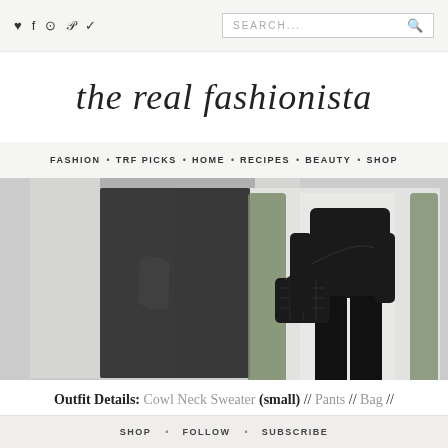♥ f ○ P ✓  SEARCH...  🔍
the real fashionista
FASHION • TRF PICKS • HOME • RECIPES • BEAUTY • SHOP
[Figure (photo): Two fashion photos side by side: left shows dark pants/legs, right shows woman in all-black outfit holding a black quilted crossbody bag, standing near green topiary trees]
Outfit Details: Cowl Neck Sweater (small) // Pants // Bag // Sunglasses
SHOP • FOLLOW • SUBSCRIBE